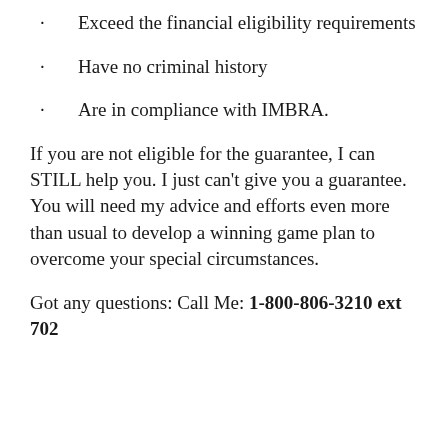Exceed the financial eligibility requirements
Have no criminal history
Are in compliance with IMBRA.
If you are not eligible for the guarantee, I can STILL help you. I just can't give you a guarantee. You will need my advice and efforts even more than usual to develop a winning game plan to overcome your special circumstances.
Got any questions: Call Me: 1-800-806-3210 ext 702